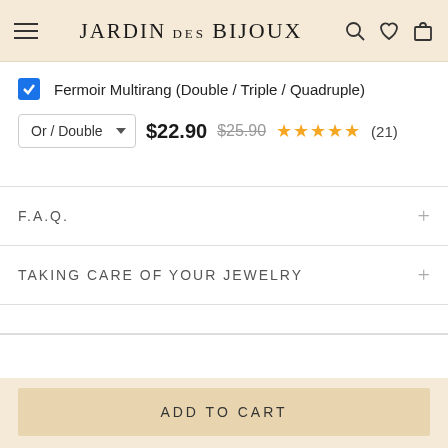Jardin des Bijoux
Fermoir Multirang (Double / Triple / Quadruple)
Or / Double  $22.90  $25.90  ★★★★★ (21)
F.A.Q.
TAKING CARE OF YOUR JEWELRY
ADD TO CART